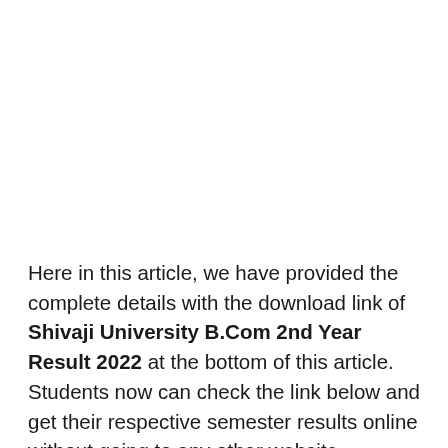Here in this article, we have provided the complete details with the download link of Shivaji University B.Com 2nd Year Result 2022 at the bottom of this article. Students now can check the link below and get their respective semester results online without going to any other website.